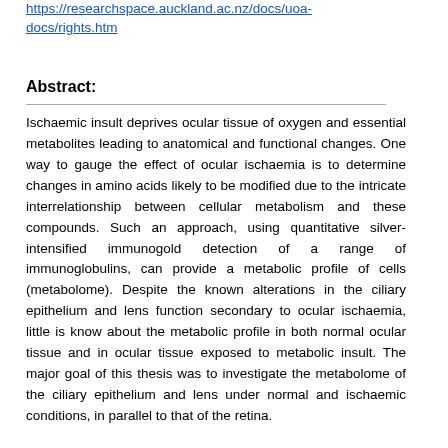https://researchspace.auckland.ac.nz/docs/uoa-docs/rights.htm
Abstract:
Ischaemic insult deprives ocular tissue of oxygen and essential metabolites leading to anatomical and functional changes. One way to gauge the effect of ocular ischaemia is to determine changes in amino acids likely to be modified due to the intricate interrelationship between cellular metabolism and these compounds. Such an approach, using quantitative silver-intensified immunogold detection of a range of immunoglobulins, can provide a metabolic profile of cells (metabolome). Despite the known alterations in the ciliary epithelium and lens function secondary to ocular ischaemia, little is know about the metabolic profile in both normal ocular tissue and in ocular tissue exposed to metabolic insult. The major goal of this thesis was to investigate the metabolome of the ciliary epithelium and lens under normal and ischaemic conditions, in parallel to that of the retina.